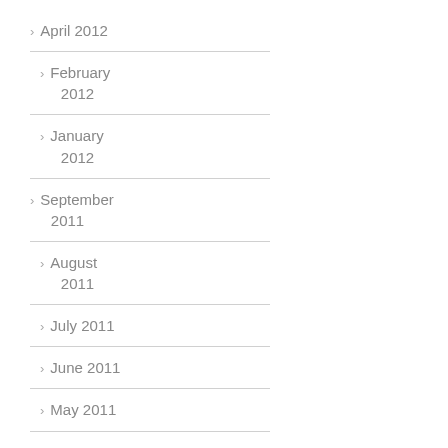April 2012
February 2012
January 2012
September 2011
August 2011
July 2011
June 2011
May 2011